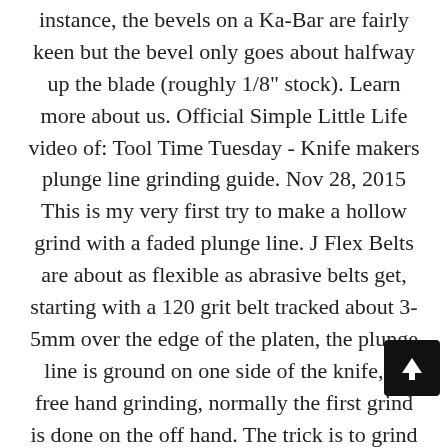instance, the bevels on a Ka-Bar are fairly keen but the bevel only goes about halfway up the blade (roughly 1/8" stock). Learn more about us. Official Simple Little Life video of: Tool Time Tuesday - Knife makers plunge line grinding guide. Nov 28, 2015 This is my very first try to make a hollow grind with a faded plunge line. J Flex Belts are about as flexible as abrasive belts get, starting with a 120 grit belt tracked about 3-5mm over the edge of the platen, the plunge line is ground on one side of the knife, If free hand grinding, normally the first grind is done on the off hand. The trick is to grind a standard plunge to the apex point of your sweep. Most likely it was a conversation between two flintknappers sitting around a cave—and the battle of which grind is the best rages on to this day. Then grind the edges smooth. The bubbling is due to air trapped in the plumbing system. Increase or decrease successive traverse rates to break
[Figure (other): Scroll-to-top button: black square with white upward arrow]